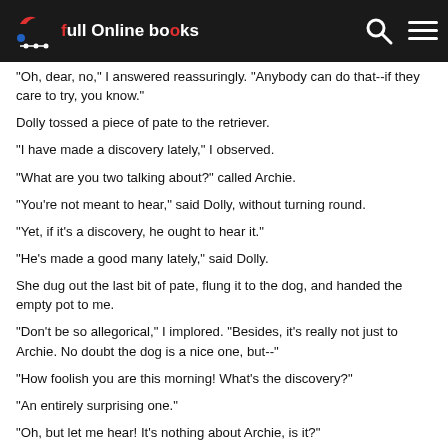Full Online Books
"Oh, dear, no," I answered reassuringly. "Anybody can do that--if they care to try, you know."
Dolly tossed a piece of pate to the retriever.
"I have made a discovery lately," I observed.
"What are you two talking about?" called Archie.
"You're not meant to hear," said Dolly, without turning round.
"Yet, if it's a discovery, he ought to hear it."
"He's made a good many lately," said Dolly.
She dug out the last bit of pate, flung it to the dog, and handed the empty pot to me.
"Don't be so allegorical," I implored. "Besides, it's really not just to Archie. No doubt the dog is a nice one, but--"
"How foolish you are this morning! What's the discovery?"
"An entirely surprising one."
"Oh, but let me hear! It's nothing about Archie, is it?"
"No, I've told you all Archie's sins."
"Nor Mrs. Hilary? I wish it was Mrs. Hilary!"
"Oh, I can tell you that at once. Oh, I can reveal that.